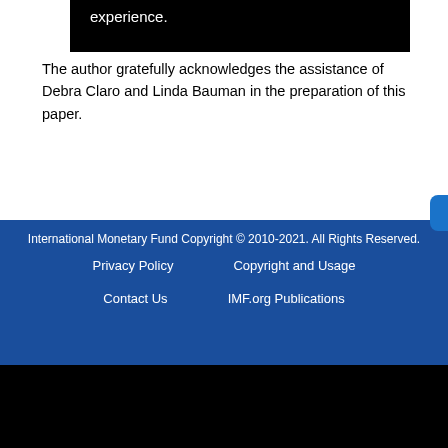experience.
The author gratefully acknowledges the assistance of Debra Claro and Linda Bauman in the preparation of this paper.
International Monetary Fund Copyright © 2010-2021. All Rights Reserved.
Privacy Policy   Copyright and Usage
Contact Us   IMF.org Publications